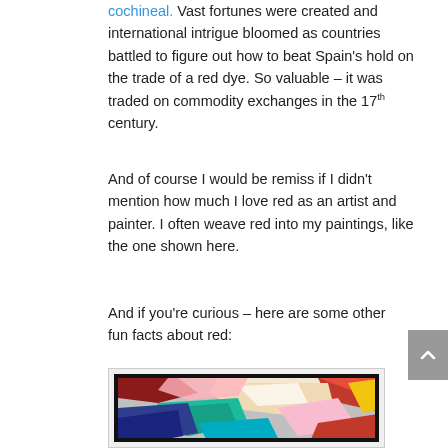cochineal. Vast fortunes were created and international intrigue bloomed as countries battled to figure out how to beat Spain's hold on the trade of a red dye. So valuable – it was traded on commodity exchanges in the 17th century.
And of course I would be remiss if I didn't mention how much I love red as an artist and painter. I often weave red into my paintings, like the one shown here.
And if you're curious – here are some other fun facts about red:
[Figure (photo): Abstract painting with bold strokes of red, white, blue, teal, pink, and yellow colors]